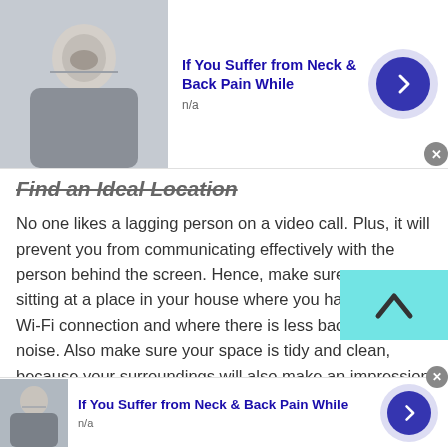[Figure (screenshot): Top advertisement banner: photo of elderly man touching neck, title 'If You Suffer from Neck & Back Pain While', subtitle 'n/a', blue arrow button, close X button]
Find an Ideal Location
No one likes a lagging person on a video call. Plus, it will prevent you from communicating effectively with the person behind the screen. Hence, make sure you are sitting at a place in your house where you have a stable Wi-Fi connection and where there is less background noise. Also make sure your space is tidy and clean, because your surroundings will also make an impression when you join an Trinidadian Phone Chat Lines .
[Figure (screenshot): Scroll-up button: teal/cyan square with upward chevron arrow]
4. Good Ca
[Figure (screenshot): Bottom advertisement banner: photo of person touching ear/neck, title 'If You Suffer from Neck & Back Pain While', subtitle 'n/a', blue arrow button, close X button]